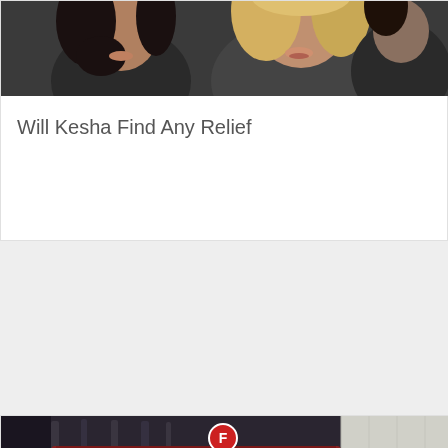[Figure (photo): Two women, one with dark hair and one with long blonde hair, photographed from below the chin upward against a dark background.]
Will Kesha Find Any Relief
[Figure (photo): NYC subway F train stopped at a station platform. The front of the red subway car is visible with its headlights on and the F route circle sign lit up in red above the doors. The station has white tile walls with a dark blue stripe.]
Man Dragged to Death by NYC Subway